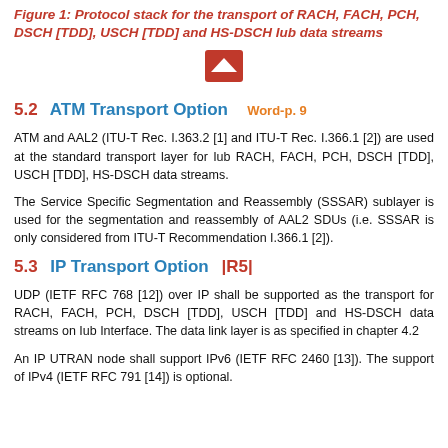Figure 1: Protocol stack for the transport of RACH, FACH, PCH, DSCH [TDD], USCH [TDD] and HS-DSCH Iub data streams
[Figure (other): Red upward arrow icon (chevron/caret shape) indicating a collapsed or expandable figure]
5.2 ATM Transport Option Word-p. 9
ATM and AAL2 (ITU-T Rec. I.363.2 [1] and ITU-T Rec. I.366.1 [2]) are used at the standard transport layer for Iub RACH, FACH, PCH, DSCH [TDD], USCH [TDD], HS-DSCH data streams.
The Service Specific Segmentation and Reassembly (SSSAR) sublayer is used for the segmentation and reassembly of AAL2 SDUs (i.e. SSSAR is only considered from ITU-T Recommendation I.366.1 [2]).
5.3 IP Transport Option |R5|
UDP (IETF RFC 768 [12]) over IP shall be supported as the transport for RACH, FACH, PCH, DSCH [TDD], USCH [TDD] and HS-DSCH data streams on Iub Interface. The data link layer is as specified in chapter 4.2
An IP UTRAN node shall support IPv6 (IETF RFC 2460 [13]). The support of IPv4 (IETF RFC 791 [14]) is optional.